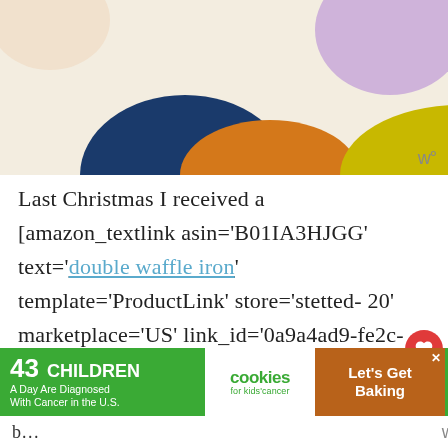[Figure (illustration): Decorative abstract shapes in dark blue, orange, yellow-green, and lavender on a cream/beige background — blog header banner]
Last Christmas I received a [amazon_textlink asin='B01IA3HJGG' text='double waffle iron' template='ProductLink' store='stetted-20' marketplace='US' link_id='0a9a4ad9-fe2c-11e8-8a94-213c6b0bbb9d'] , so it's only fi… that this year we make waffles for
[Figure (infographic): What's Next panel with thumbnail image of Gingerbread Pancakes, a heart/save button (red), count of 8, and share button]
[Figure (infographic): Advertisement banner: '43 CHILDREN A Day Are Diagnosed With Cancer in the U.S.' with cookies for kids' cancer logo and 'Let's Get Baking' CTA]
b… …sed.
w°